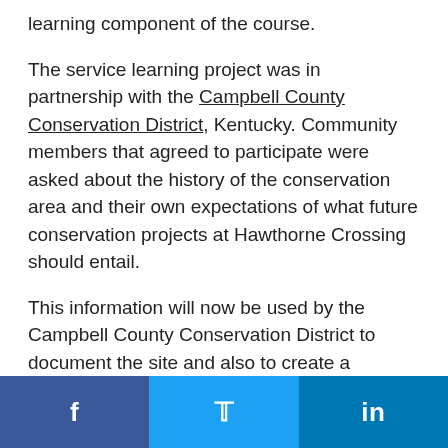learning component of the course.
The service learning project was in partnership with the Campbell County Conservation District, Kentucky. Community members that agreed to participate were asked about the history of the conservation area and their own expectations of what future conservation projects at Hawthorne Crossing should entail.
This information will now be used by the Campbell County Conservation District to document the site and also to create a management plan for the area. In addition to the needs of the conservation district, this project was designed to introduce students to basic applied anthropological research (e.g., interviewing and analyzing qualitative data)
[Figure (other): Social sharing bar with three buttons: Facebook (f), Twitter (bird icon), and LinkedIn (in)]